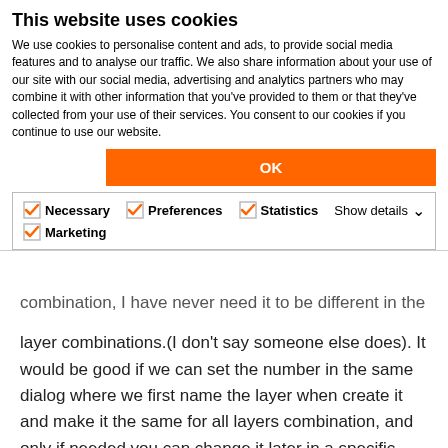This website uses cookies
We use cookies to personalise content and ads, to provide social media features and to analyse our traffic. We also share information about your use of our site with our social media, advertising and analytics partners who may combine it with other information that you've provided to them or that they've collected from your use of their services. You consent to our cookies if you continue to use our website.
OK
Necessary   Preferences   Statistics   Marketing   Show details
combination, I have never need it to be different in the layer combinations.(I don't say someone else does). It would be good if we can set the number in the same dialog where we first name the layer when create it and make it the same for all layers combination, and only if needed you can change it later in a specific layer combination.
2- Adding the option of "no plot" to a layer. In my workflow I have two sections that are for working and I move them